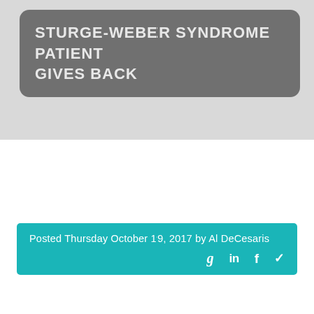STURGE-WEBER SYNDROME PATIENT GIVES BACK
Posted Thursday October 19, 2017 by Al DeCesaris